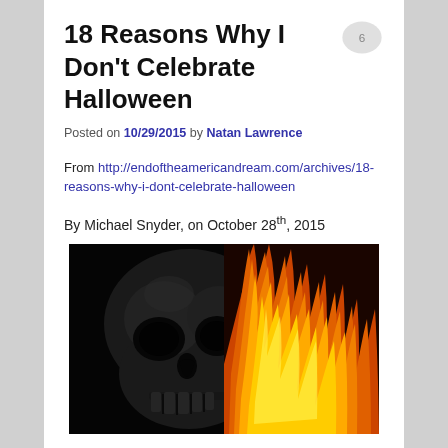18 Reasons Why I Don't Celebrate Halloween
Posted on 10/29/2015 by Natan Lawrence
From http://endoftheamericandream.com/archives/18-reasons-why-i-dont-celebrate-halloween
By Michael Snyder, on October 28th, 2015
[Figure (photo): A dark skull on the left side and orange flames on the right side against a black background]